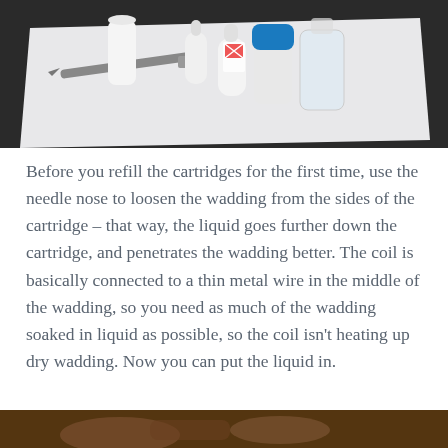[Figure (photo): Photo of vaping/e-cigarette refill supplies on a white surface on a dark countertop: needle nose tool, small white dropper bottles, a blue-capped squeeze bottle, and a clear glass bottle with liquid.]
Before you refill the cartridges for the first time, use the needle nose to loosen the wadding from the sides of the cartridge – that way, the liquid goes further down the cartridge, and penetrates the wadding better. The coil is basically connected to a thin metal wire in the middle of the wadding, so you need as much of the wadding soaked in liquid as possible, so the coil isn't heating up dry wadding. Now you can put the liquid in.
[Figure (photo): Partial photo at the bottom of the page showing a close-up of vaping/cartridge components on a warm-toned surface.]